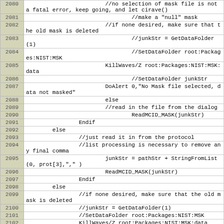Code listing lines 2080-2102, Igor Pro source code for mask file processing
| Line | Code |
| --- | --- |
| 2080 | //no selection of mask file is not a fatal error, keep going, and let cirave() |
| 2081 | //make a "null" mask |
| 2082 | //if none desired, make sure that the old mask is deleted |
| 2083 | //junkStr = GetDataFolder(1) |
| 2084 | //SetDataFolder root:Packages:NIST:MSK |
| 2085 | KillWaves/Z root:Packages:NIST:MSK:data |
| 2086 | //SetDataFolder junkStr |
| 2087 | DoAlert 0,"No Mask file selected, data not masked" |
| 2088 | else |
| 2089 | //read in the file from the dialog |
| 2090 | ReadMCID_MASK(junkStr) |
| 2091 | Endif |
| 2092 | else |
| 2093 | //just read it in from the protocol |
| 2094 | //list processing is necessary to remove any final comma |
| 2095 | junkStr = pathStr + StringFromList(0, prot[3],"," ) |
| 2096 | ReadMCID_MASK(junkStr) |
| 2097 | Endif |
| 2098 | else |
| 2099 | //if none desired, make sure that the old mask is deleted |
| 2100 | //junkStr = GetDataFolder(1) |
| 2101 | //SetDataFolder root:Packages:NIST:MSK |
| 2102 | KillWaves/Z root:Packages:NIST:MSK:data |